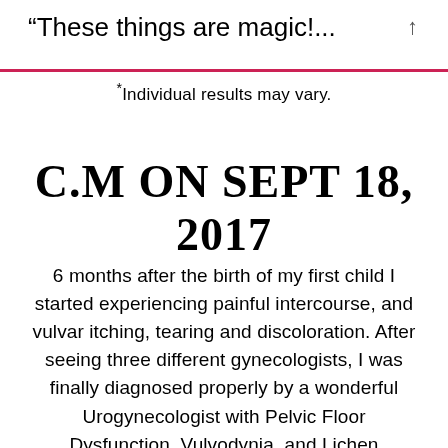“These things are magic!...
*Individual results may vary.
C.M ON SEPT 18, 2017
6 months after the birth of my first child I started experiencing painful intercourse, and vulvar itching, tearing and discoloration. After seeing three different gynecologists, I was finally diagnosed properly by a wonderful Urogynecologist with Pelvic Floor Dysfunction, Vulvodynia, and Lichen Sclerosus. At 33 years old, I was devastated and felt hopeless. I was